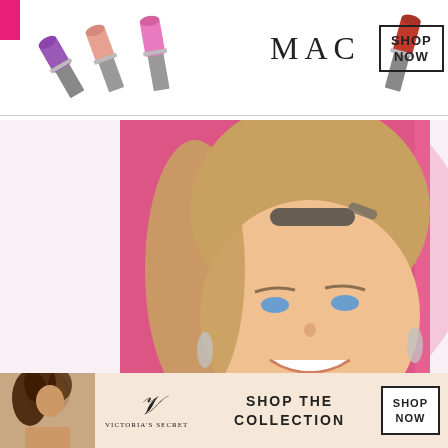[Figure (infographic): MAC Cosmetics advertisement banner showing three lipsticks (purple, pink/nude, hot pink), MAC logo, and a SHOP NOW button with a red lipstick on the right. A magenta/pink square is in the top left corner.]
[Figure (photo): Photo of a smiling young blonde woman with sunglasses on her head and dangling earrings, positioned against a bright pink background. A CLOSE button appears at the bottom right corner of the photo.]
[Figure (infographic): Victoria's Secret advertisement banner showing a model with curly hair on the left, the Victoria's Secret logo in the center with 'SHOP THE COLLECTION' text, and a 'SHOP NOW' button on the right.]